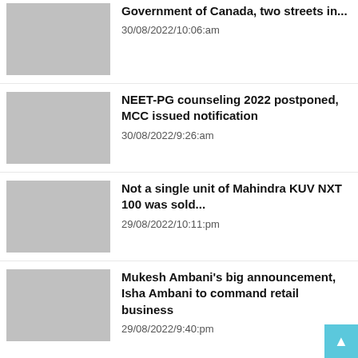Government of Canada, two streets in...
NEET-PG counseling 2022 postponed, MCC issued notification
Not a single unit of Mahindra KUV NXT 100 was sold...
Mukesh Ambani's big announcement, Isha Ambani to command retail business